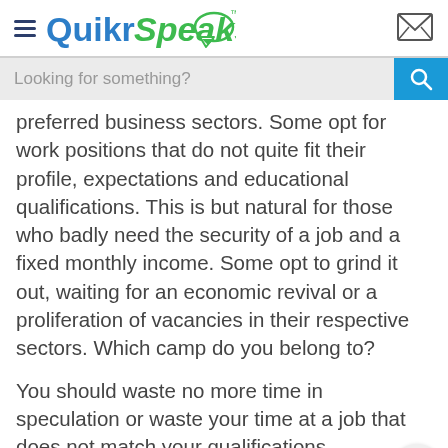QuikrSpeaks
preferred business sectors. Some opt for work positions that do not quite fit their profile, expectations and educational qualifications. This is but natural for those who badly need the security of a job and a fixed monthly income. Some opt to grind it out, waiting for an economic revival or a proliferation of vacancies in their respective sectors. Which camp do you belong to?
You should waste no more time in speculation or waste your time at a job that does not match your qualifications, experience, skills and aspirations. How do